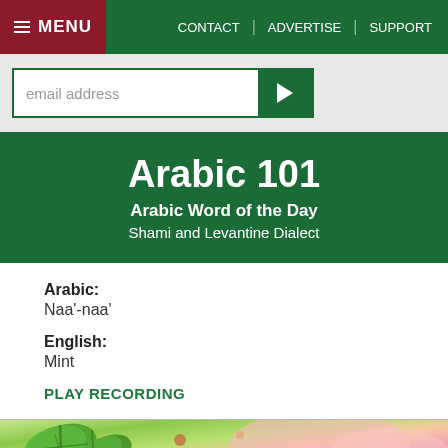MENU | CONTACT | ADVERTISE | SUPPORT
email address
Arabic 101
Arabic Word of the Day
Shami and Levantine Dialect
Arabic:
Naa'-naa'
English:
Mint
PLAY RECORDING
[Figure (photo): Photo of mint leaves and colorful food items]